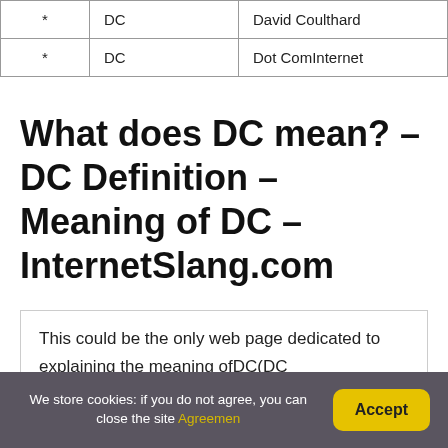| * | DC | David Coulthard |
| * | DC | Dot ComInternet |
What does DC mean? – DC Definition – Meaning of DC – InternetSlang.com
This could be the only web page dedicated to explaining the meaning ofDC(DC acronym/abbreviation/slang word).Ever wondered whatDCmeans? Or any of the other
We store cookies: if you do not agree, you can close the site Agreemen